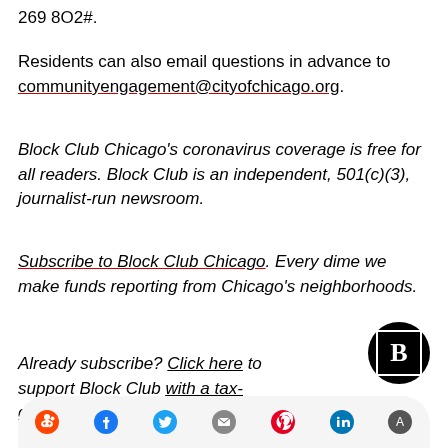269 802#.
Residents can also email questions in advance to communityengagement@cityofchicago.org.
Block Club Chicago's coronavirus coverage is free for all readers. Block Club is an independent, 501(c)(3), journalist-run newsroom.
Subscribe to Block Club Chicago. Every dime we make funds reporting from Chicago's neighborhoods.
Already subscribe? Click here to support Block Club with a tax-deductible donation.
[Figure (other): Social media sharing bar with icons for Reddit, Facebook, Twitter, Email, Pinterest, LinkedIn, and another platform]